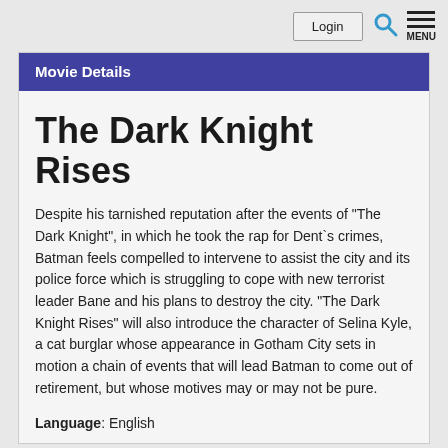Login | Search | MENU
Movie Details
The Dark Knight Rises
Despite his tarnished reputation after the events of "The Dark Knight", in which he took the rap for Dent`s crimes, Batman feels compelled to intervene to assist the city and its police force which is struggling to cope with new terrorist leader Bane and his plans to destroy the city. "The Dark Knight Rises" will also introduce the character of Selina Kyle, a cat burglar whose appearance in Gotham City sets in motion a chain of events that will lead Batman to come out of retirement, but whose motives may or may not be pure.
Language: English